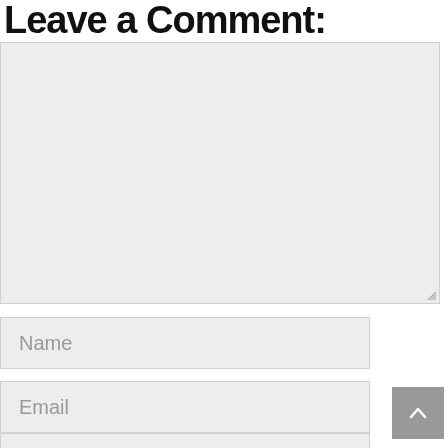Leave a Comment:
[Figure (screenshot): Large empty textarea input box with light gray background and resize handle at bottom right]
Name
Email
Website